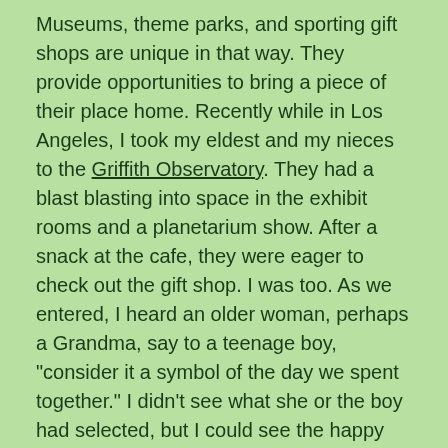Museums, theme parks, and sporting gift shops are unique in that way. They provide opportunities to bring a piece of their place home. Recently while in Los Angeles, I took my eldest and my nieces to the Griffith Observatory. They had a blast blasting into space in the exhibit rooms and a planetarium show. After a snack at the cafe, they were eager to check out the gift shop. I was too. As we entered, I heard an older woman, perhaps a Grandma, say to a teenage boy, "consider it a symbol of the day we spent together." I didn't see what she or the boy had selected, but I could see the happy intent on their faces, thoughtfully looking at space-themed objects on the shelves.
The obvious mementos are the branded designs that specifically tell you (and remind you) where you were: